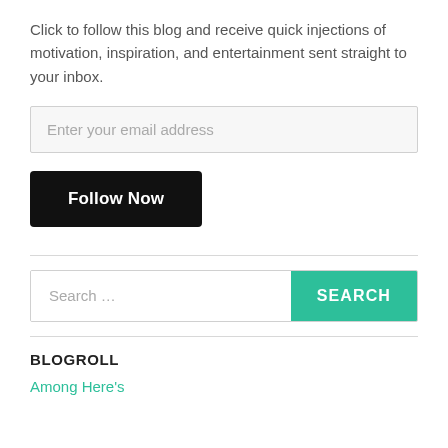Click to follow this blog and receive quick injections of motivation, inspiration, and entertainment sent straight to your inbox.
[Figure (other): Email subscription input field with placeholder text 'Enter your email address']
[Figure (other): Black 'Follow Now' button]
[Figure (other): Search bar with placeholder 'Search ...' and teal 'SEARCH' button]
BLOGROLL
Among Here's